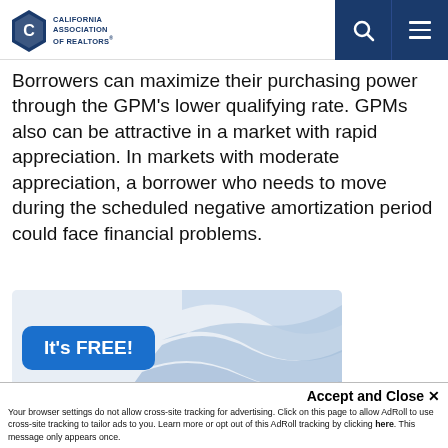California Association of Realtors
Borrowers can maximize their purchasing power through the GPM's lower qualifying rate. GPMs also can be attractive in a market with rapid appreciation. In markets with moderate appreciation, a borrower who needs to move during the scheduled negative amortization period could face financial problems.
[Figure (advertisement): Breeze by SkySlope advertisement banner with 'It's FREE!' button and wave graphics]
Accept and Close ×
Your browser settings do not allow cross-site tracking for advertising. Click on this page to allow AdRoll to use cross-site tracking to tailor ads to you. Learn more or opt out of this AdRoll tracking by clicking here. This message only appears once.